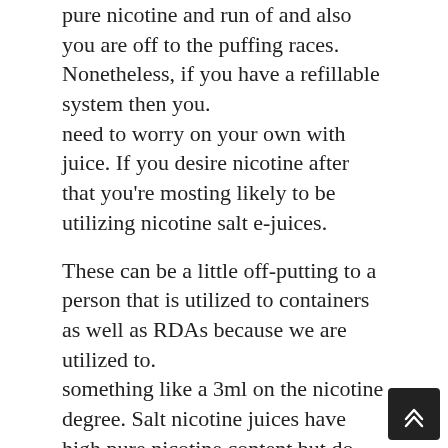pure nicotine and run of and also you are off to the puffing races. Nonetheless, if you have a refillable system then you.
need to worry on your own with juice. If you desire nicotine after that you're mosting likely to be utilizing nicotine salt e-juices.

These can be a little off-putting to a person that is utilized to containers as well as RDAs because we are utilized to.
something like a 3ml on the nicotine degree. Salt nicotine juices have high pure nicotine content but do not fret.
these are different from your normal freebase fluids. They have an acidic component in them so it's not going to.
seem like you're hitting a 24ml at 60 watts, however, it does have a quite solid throat hit but that's.
something that a great deal of smokers take pleasure in if they lately gave up.